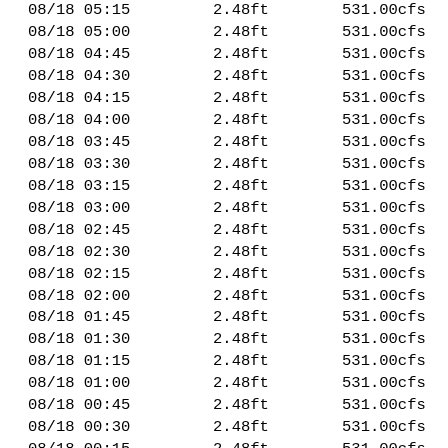| 08/18 05:15 | 2.48ft | 531.00cfs |
| 08/18 05:00 | 2.48ft | 531.00cfs |
| 08/18 04:45 | 2.48ft | 531.00cfs |
| 08/18 04:30 | 2.48ft | 531.00cfs |
| 08/18 04:15 | 2.48ft | 531.00cfs |
| 08/18 04:00 | 2.48ft | 531.00cfs |
| 08/18 03:45 | 2.48ft | 531.00cfs |
| 08/18 03:30 | 2.48ft | 531.00cfs |
| 08/18 03:15 | 2.48ft | 531.00cfs |
| 08/18 03:00 | 2.48ft | 531.00cfs |
| 08/18 02:45 | 2.48ft | 531.00cfs |
| 08/18 02:30 | 2.48ft | 531.00cfs |
| 08/18 02:15 | 2.48ft | 531.00cfs |
| 08/18 02:00 | 2.48ft | 531.00cfs |
| 08/18 01:45 | 2.48ft | 531.00cfs |
| 08/18 01:30 | 2.48ft | 531.00cfs |
| 08/18 01:15 | 2.48ft | 531.00cfs |
| 08/18 01:00 | 2.48ft | 531.00cfs |
| 08/18 00:45 | 2.48ft | 531.00cfs |
| 08/18 00:30 | 2.48ft | 531.00cfs |
| 08/18 00:15 | 2.48ft | 531.00cfs |
| 08/18 00:00 | 2.48ft | 531.00cfs |
| 08/17 23:45 | 2.48ft | 531.00cfs |
| 08/17 23:30 | 2.48ft | 531.00cfs |